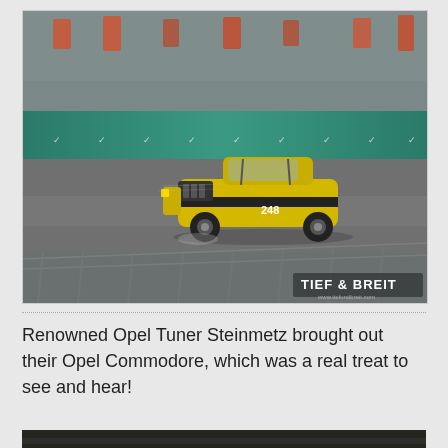[Figure (photo): A vintage yellow Opel Commodore racing car with black stripes and number 248, racing on a wet track at a motorsport event. The car is photographed with motion blur from behind a barrier. The background shows a green advertising barrier with logos. A watermark reads 'TIEF & BREIT' in the bottom right corner.]
Renowned Opel Tuner Steinmetz brought out their Opel Commodore, which was a real treat to see and hear!
[Figure (photo): Partial view of another photo at the bottom of the page, showing a dark scene.]